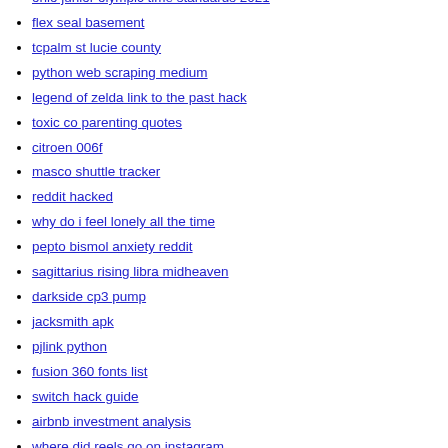ohio junior olympic time standards 2021
flex seal basement
tcpalm st lucie county
python web scraping medium
legend of zelda link to the past hack
toxic co parenting quotes
citroen 006f
masco shuttle tracker
reddit hacked
why do i feel lonely all the time
pepto bismol anxiety reddit
sagittarius rising libra midheaven
darkside cp3 pump
jacksmith apk
pjlink python
fusion 360 fonts list
switch hack guide
airbnb investment analysis
where did reels go on instagram
avaya 9508 manual
bevy webgl
sell samsung tablet for cash near me
black pointed toe heels with ankle strap
index of nikita season 1
bible verse a good man leaves an inheritance